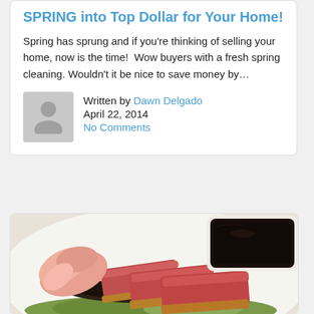SPRING into Top Dollar for Your Home!
Spring has sprung and if you're thinking of selling your home, now is the time!  Wow buyers with a fresh spring cleaning. Wouldn't it be nice to save money by…
Written by Dawn Delgado
April 22, 2014
No Comments
[Figure (photo): Close-up photo of seared ahi tuna slices with a sesame crust, served with pickled ginger and a small bowl of dark soy sauce dipping sauce, on a white plate with garnish.]